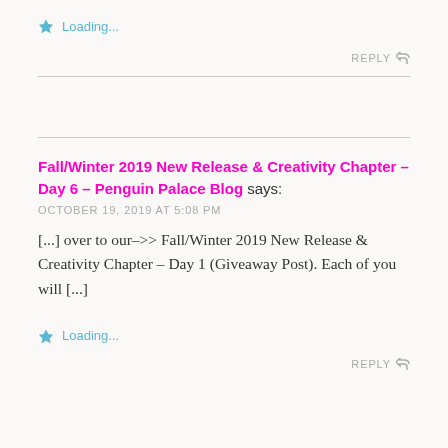★ Loading...
REPLY ↩
Fall/Winter 2019 New Release & Creativity Chapter – Day 6 – Penguin Palace Blog says:
OCTOBER 19, 2019 AT 5:08 PM
[...] over to our–>> Fall/Winter 2019 New Release & Creativity Chapter – Day 1 (Giveaway Post). Each of you will [...]
★ Loading...
REPLY ↩